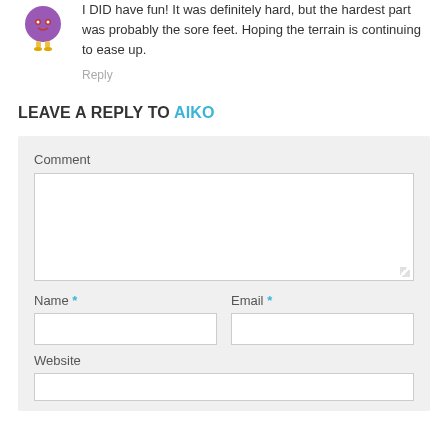I DID have fun! It was definitely hard, but the hardest part was probably the sore feet. Hoping the terrain is continuing to ease up.
Reply
LEAVE A REPLY TO AIKO
Comment
Name *
Email *
Website